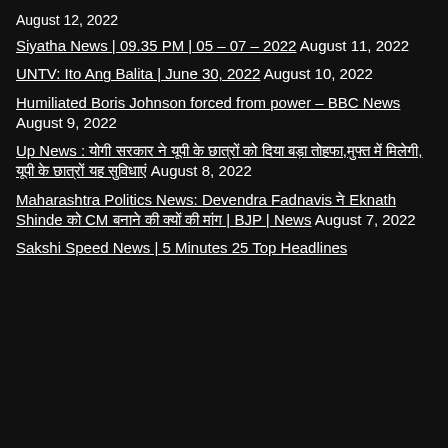August 12, 2022
Siyatha News | 09.35 PM | 05 – 07 – 2022 August 11, 2022
UNTV: Ito Ang Balita | June 30, 2022 August 10, 2022
Humiliated Boris Johnson forced from power – BBC News August 9, 2022
Up News : योगी सरकार ने यूपी के छात्रों को दिया बड़ा तोहफा,मुफ्त में मिलेगी, यूपी के छात्रों यह सुविधाएं August 8, 2022
Maharashtra Politics News: Devendra Fadnavis ने Eknath Shinde को CM बनाने की क्यों की मांग | BJP | News August 7, 2022
Sakshi Speed News | 5 Minutes 25 Top Headlines